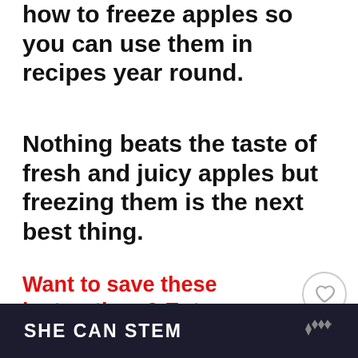how to freeze apples so you can use them in recipes year round.
Nothing beats the taste of fresh and juicy apples but freezing them is the next best thing.
Want to save these instructions? Enter your email below and we'll send the recipe straight to your inbox!
[Figure (infographic): Social sharing sidebar with heart/like button, share count 24, and teal share button]
[Figure (infographic): WHAT'S NEXT widget showing a food photo and text 'Slow Victories: 30...']
SHE CAN STEM
[Figure (logo): Walmart-style spark logo in gray on dark banner]